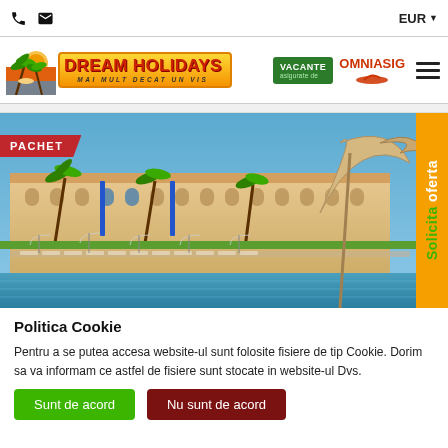📞 ✉  EUR ▼
[Figure (logo): Dream Holidays logo - Mai Mult Decat Un Vis, with palm tree illustration]
[Figure (logo): Vacante asigurate de Omniasig Vienna Insurance Group logo]
[Figure (photo): Hotel resort photo with pool, sun loungers, umbrellas and palm trees. PACHET badge overlay. Solicita Oferta orange sidebar.]
Politica Cookie
Pentru a se putea accesa website-ul sunt folosite fisiere de tip Cookie. Dorim sa va informam ce astfel de fisiere sunt stocate in website-ul Dvs.
Sunt de acord   Nu sunt de acord